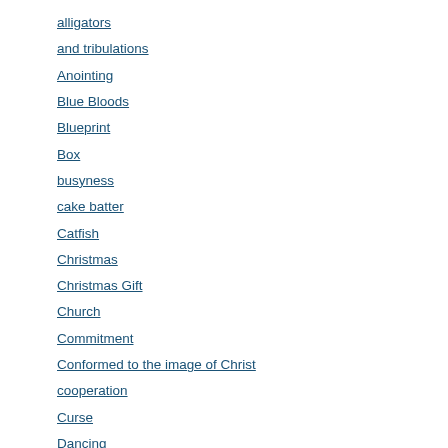alligators
and tribulations
Anointing
Blue Bloods
Blueprint
Box
busyness
cake batter
Catfish
Christmas
Christmas Gift
Church
Commitment
Conformed to the image of Christ
cooperation
Curse
Dancing
death
Defining Moments